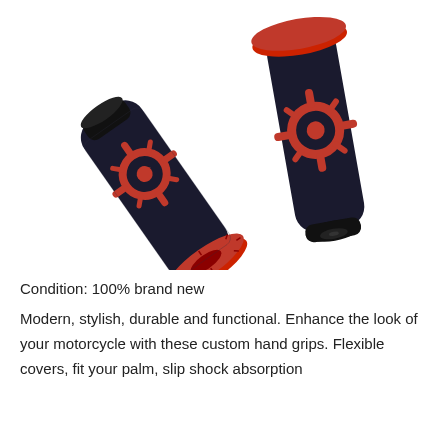[Figure (photo): Two black and red motorcycle hand grips with spider/sun pattern design. Left grip shows the open end with a red circular flange. Right grip shows the closed end cap. Both grips are black rubber with raised red decorative patterns.]
Condition: 100% brand new
Modern, stylish, durable and functional. Enhance the look of your motorcycle with these custom hand grips. Flexible covers, fit your palm, slip shock absorption